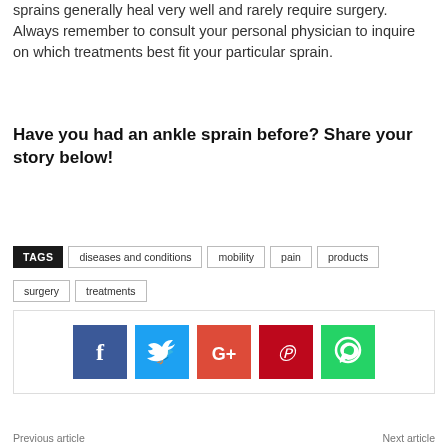sprains generally heal very well and rarely require surgery.  Always remember to consult your personal physician to inquire on which treatments best fit your particular sprain.
Have you had an ankle sprain before? Share your story below!
TAGS  diseases and conditions  mobility  pain  products  surgery  treatments
[Figure (infographic): Social share buttons: Facebook (blue), Twitter (light blue), Google+ (red-orange), Pinterest (red), WhatsApp (green)]
Previous article   Next article